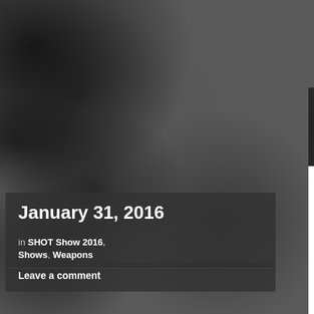[Figure (photo): Dark stone or concrete texture background, grayscale, with dark splotches and marks throughout]
January 31, 2016
in SHOT Show 2016, Shows, Weapons
Leave a comment
ShotShow2016: M
One of the most innovative products came from M+M industries. The American company is presenting on the market the next step of Kalashnikov's design. We haven't had the chance to fire it, but form an engineering point of view it offers increased reliability, accuracy and attachm...